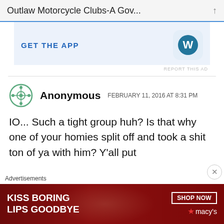Outlaw Motorcycle Clubs-A Gov...
[Figure (screenshot): WordPress 'GET THE APP' advertisement banner with WordPress logo icon on blue-tinted background]
REPORT THIS AD
Anonymous  FEBRUARY 11, 2016 AT 8:31 PM
IO... Such a tight group huh? Is that why one of your homies split off and took a shit ton of ya with him? Y'all put
Advertisements
[Figure (screenshot): Macy's advertisement banner: 'KISS BORING LIPS GOODBYE' with SHOP NOW button and Macy's star logo on dark red background with woman's face]